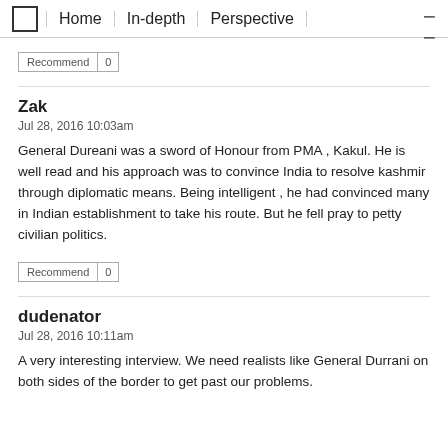Home | In-depth | Perspective
Recommend | 0
Zak
Jul 28, 2016 10:03am
General Dureani was a sword of Honour from PMA , Kakul. He is well read and his approach was to convince India to resolve kashmir through diplomatic means. Being intelligent , he had convinced many in Indian establishment to take his route. But he fell pray to petty civilian politics.
Recommend | 0
dudenator
Jul 28, 2016 10:11am
A very interesting interview. We need realists like General Durrani on both sides of the border to get past our problems.